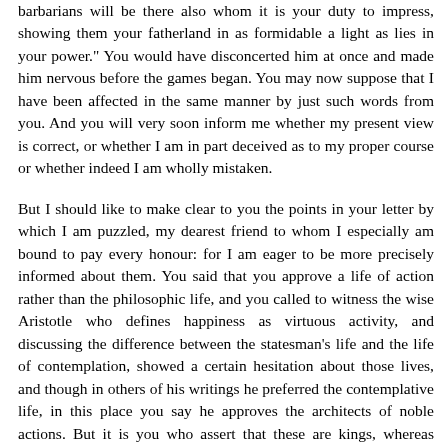barbarians will be there also whom it is your duty to impress, showing them your fatherland in as formidable a light as lies in your power." You would have disconcerted him at once and made him nervous before the games began. You may now suppose that I have been affected in the same manner by just such words from you. And you will very soon inform me whether my present view is correct, or whether I am in part deceived as to my proper course or whether indeed I am wholly mistaken.
But I should like to make clear to you the points in your letter by which I am puzzled, my dearest friend to whom I especially am bound to pay every honour: for I am eager to be more precisely informed about them. You said that you approve a life of action rather than the philosophic life, and you called to witness the wise Aristotle who defines happiness as virtuous activity, and discussing the difference between the statesman's life and the life of contemplation, showed a certain hesitation about those lives, and though in others of his writings he preferred the contemplative life, in this place you say he approves the architects of noble actions. But it is you who assert that these are kings, whereas Aristotle does not speak in the sense of the words that you have introduced: and from what you have quoted one would rather infer the contrary. For when he says: "We most correctly use the word 'act' of those who are the architects of public affairs by virtue of their intelligence," [27] we must suppose that what he [|329] says applies to